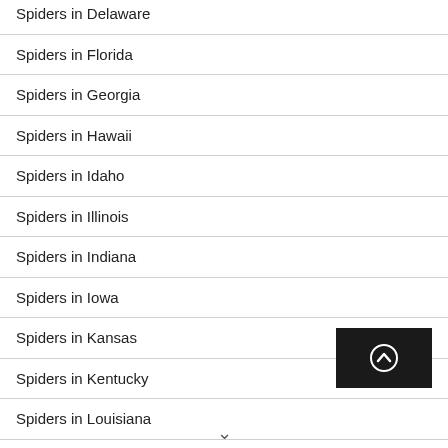Spiders in Delaware
Spiders in Florida
Spiders in Georgia
Spiders in Hawaii
Spiders in Idaho
Spiders in Illinois
Spiders in Indiana
Spiders in Iowa
Spiders in Kansas
Spiders in Kentucky
Spiders in Louisiana
Spiders in Maine